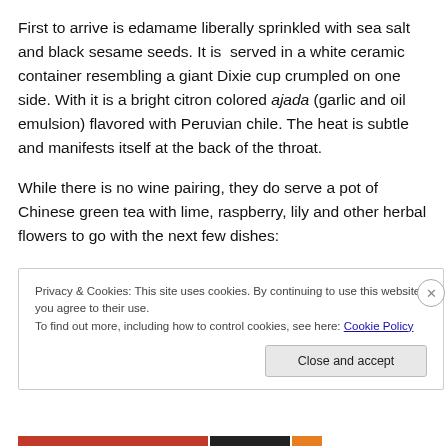First to arrive is edamame liberally sprinkled with sea salt and black sesame seeds. It is  served in a white ceramic container resembling a giant Dixie cup crumpled on one side. With it is a bright citron colored ajada (garlic and oil emulsion) flavored with Peruvian chile. The heat is subtle and manifests itself at the back of the throat.
While there is no wine pairing, they do serve a pot of Chinese green tea with lime, raspberry, lily and other herbal flowers to go with the next few dishes:
Privacy & Cookies: This site uses cookies. By continuing to use this website, you agree to their use.
To find out more, including how to control cookies, see here: Cookie Policy